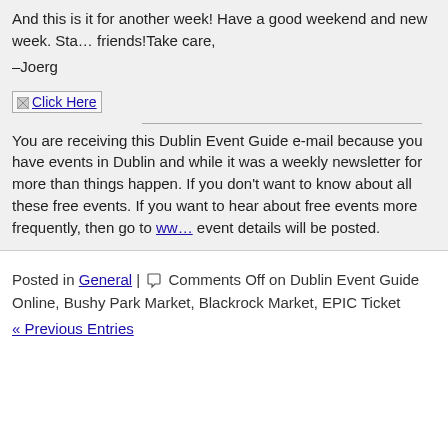And this is it for another week! Have a good weekend and new week. Sta... friends!Take care,
–Joerg
[Figure (other): Click Here button/image link]
You are receiving this Dublin Event Guide e-mail because you have events in Dublin and while it was a weekly newsletter for more than things happen. If you don't want to know about all these free events... If you want to hear about free events more frequently, then go to ww... event details will be posted.
Posted in General | Comments Off on Dublin Event Guide Online, Bushy Park Market, Blackrock Market, EPIC Ticket
« Previous Entries